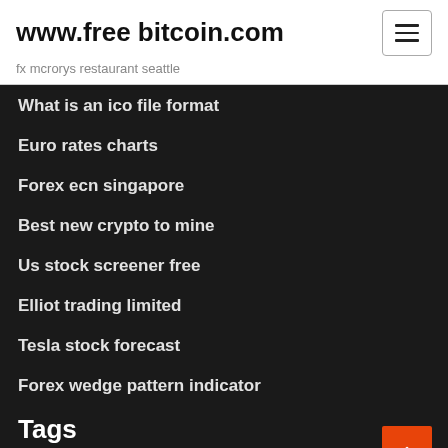www.free bitcoin.com
fx mcrorys restaurant seattle
What is an ico file format
Euro rates charts
Forex ecn singapore
Best new crypto to mine
Us stock screener free
Elliot trading limited
Tesla stock forecast
Forex wedge pattern indicator
Tags